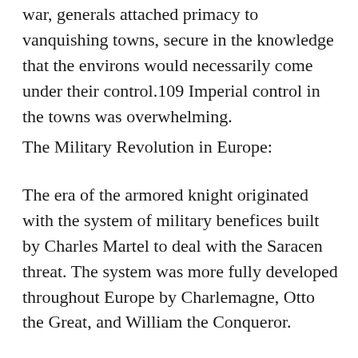war, generals attached primacy to vanquishing towns, secure in the knowledge that the environs would necessarily come under their control.109 Imperial control in the towns was overwhelming.
The Military Revolution in Europe:
The era of the armored knight originated with the system of military benefices built by Charles Martel to deal with the Saracen threat. The system was more fully developed throughout Europe by Charlemagne, Otto the Great, and William the Conqueror.